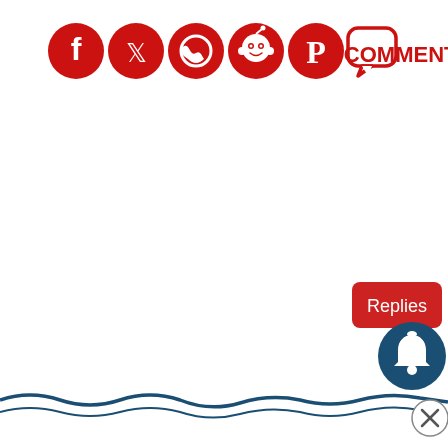[Figure (screenshot): Social media share bar with icons for Facebook, Twitter, WhatsApp, Reddit, Pinterest, Comments (speech bubble), and a COMMENTS text label, all in red. Below are a red Replies button, a dark teal notification bell button, a decorative wavy blue line at the bottom, and a close (X) circle icon.]